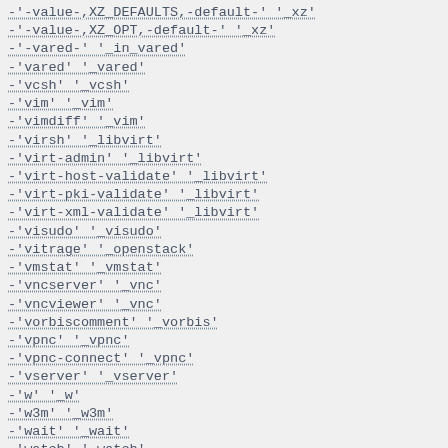-'-value-,XZ_DEFAULTS,-default-' '_xz'
-'-value-,XZ_OPT,-default-' '_xz'
-'-vared-' '_in_vared'
-'vared' '_vared'
-'vcsh' '_vcsh'
-'vim' '_vim'
-'vimdiff' '_vim'
-'virsh' '_libvirt'
-'virt-admin' '_libvirt'
-'virt-host-validate' '_libvirt'
-'virt-pki-validate' '_libvirt'
-'virt-xml-validate' '_libvirt'
-'visudo' '_visudo'
-'vitrage' '_openstack'
-'vmstat' '_vmstat'
-'vncserver' '_vnc'
-'vncviewer' '_vnc'
-'vorbiscomment' '_vorbis'
-'vpnc' '_vpnc'
-'vpnc-connect' '_vpnc'
-'vserver' '_vserver'
-'w' '_w'
-'w3m' '_w3m'
-'wait' '_wait'
-'watch' '_watch'
-'watcher' '_openstack'
-'wc' '_wc'
-'wget' '_wget'
-'what' '_sccs'
-'whatis' '_man'